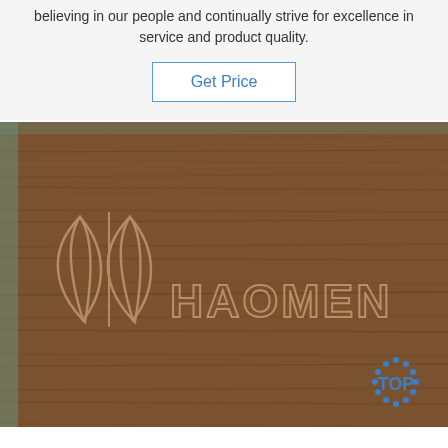believing in our people and continually strive for excellence in service and product quality.
Get Price
[Figure (photo): Close-up photo of a wooden board with the HAOMEN brand logo and name engraved/embossed on the surface. The wood has a warm brown grain texture. A blue 'TOP' badge logo is visible in the bottom right corner.]